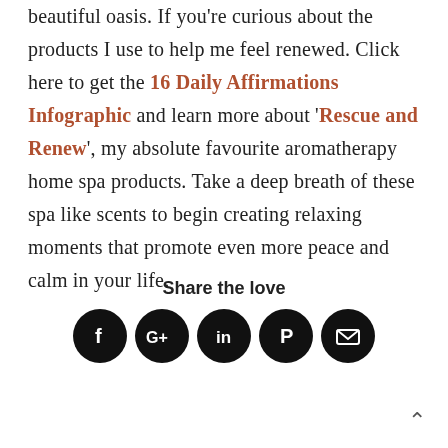beautiful oasis. If you're curious about the products I use to help me feel renewed. Click here to get the 16 Daily Affirmations Infographic and learn more about 'Rescue and Renew', my absolute favourite aromatherapy home spa products. Take a deep breath of these spa like scents to begin creating relaxing moments that promote even more peace and calm in your life.
Share the love
[Figure (infographic): Row of five social media sharing icon circles (Facebook, Google+, LinkedIn, Pinterest, Email) in black]